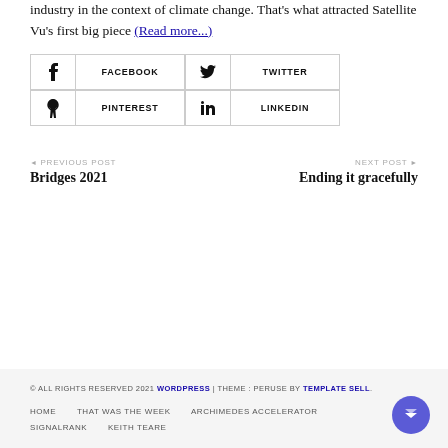industry in the context of climate change. That's what attracted Satellite Vu's first big piece (Read more...)
[Figure (other): Social share buttons grid: Facebook, Twitter, Pinterest, LinkedIn]
◄ PREVIOUS POST
Bridges 2021
NEXT POST ►
Ending it gracefully
© ALL RIGHTS RESERVED 2021 WORDPRESS | THEME : PERUSE BY TEMPLATE SELL.
HOME   THAT WAS THE WEEK   ARCHIMEDES ACCELERATOR   SIGNALRANK   KEITH TEARE